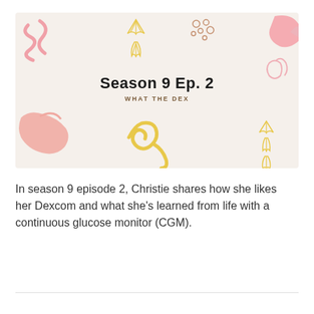[Figure (illustration): Decorative podcast episode thumbnail with cream background, floral and abstract pink and yellow decorative elements in corners, centered bold title 'Season 9 Ep. 2' and subtitle 'WHAT THE DEX']
In season 9 episode 2, Christie shares how she likes her Dexcom and what she's learned from life with a continuous glucose monitor (CGM).